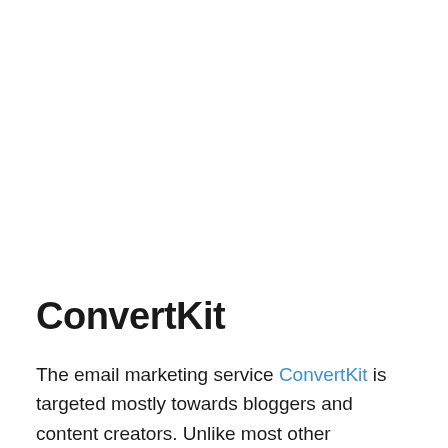ConvertKit
The email marketing service ConvertKit is targeted mostly towards bloggers and content creators. Unlike most other platforms, which focus on large-scale